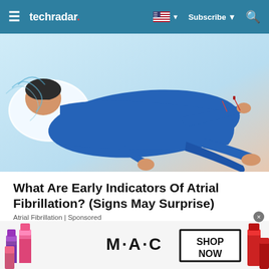techradar | Subscribe | Search
[Figure (illustration): Illustration of a person lying down in blue clothing, appearing to be in discomfort or sleeping, with acupuncture needles in their arm. Light blue/teal color scheme background.]
What Are Early Indicators Of Atrial Fibrillation? (Signs May Surprise)
Atrial Fibrillation | Sponsored
[Figure (photo): Close-up photo of a dark/black PlayStation game controller against a blurred colorful background.]
[Figure (photo): MAC cosmetics advertisement banner showing lipsticks in purple, pink and red colors with MAC logo and SHOP NOW button in black border box.]